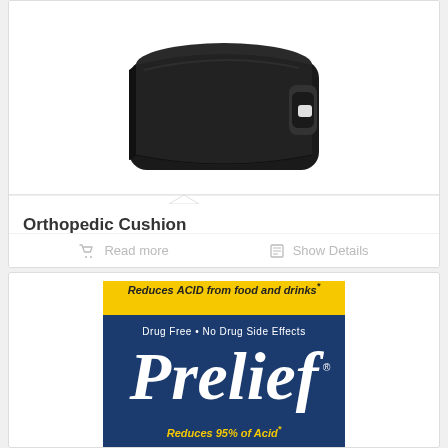[Figure (photo): Black orthopedic seat cushion with handle, photographed on white background]
Orthopedic Cushion
Read more   Show Details
[Figure (photo): Prelief product box — yellow top band: 'Reduces ACID from food and drinks*', blue main area: 'Drug Free • No Drug Side Effects', large white italic 'Prelief', yellow text 'Reduces 95% of Acid*']